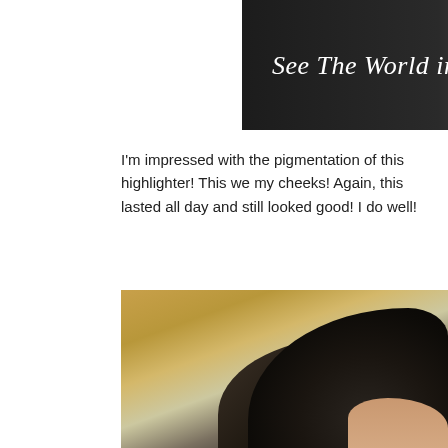[Figure (photo): Blog header image with dark background and stylized text 'See The World in PINK' in white italic lettering]
I'm impressed with the pigmentation of this highlighter! This we my cheeks! Again, this lasted all day and still looked good! I do well!
[Figure (photo): Close-up photo showing back of person's head with dark black hair, with a beige/tan room background visible]